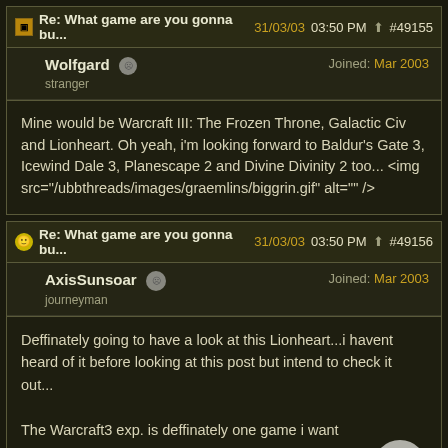Re: What game are you gonna bu... 31/03/03 03:50 PM #49155
Wolfgard  Joined: Mar 2003
stranger
Mine would be Warcraft III: The Frozen Throne, Galactic Civ and Lionheart. Oh yeah, i'm looking forward to Baldur's Gate 3, Icewind Dale 3, Planescape 2 and Divine Divinity 2 too... <img src="/ubbthreads/images/graemlins/biggrin.gif" alt="" />
Re: What game are you gonna bu... 31/03/03 03:50 PM #49156
AxisSunsoar  Joined: Mar 2003
journeyman
Deffinately going to have a look at this Lionheart...i havent heard of it before looking at this post but intend to check it out...

The Warcraft3 exp. is deffinately one game i want

Too many games to play and soooo little time